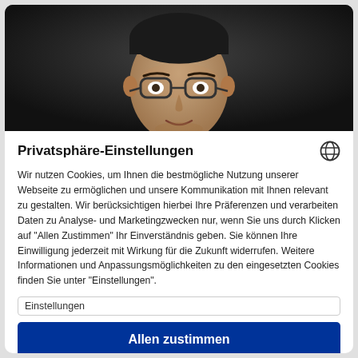[Figure (photo): Black and white portrait photo of an Asian man wearing glasses, dark background]
Privatsphäre-Einstellungen
Wir nutzen Cookies, um Ihnen die bestmögliche Nutzung unserer Webseite zu ermöglichen und unsere Kommunikation mit Ihnen relevant zu gestalten. Wir berücksichtigen hierbei Ihre Präferenzen und verarbeiten Daten zu Analyse- und Marketingzwecken nur, wenn Sie uns durch Klicken auf "Allen Zustimmen" Ihr Einverständnis geben. Sie können Ihre Einwilligung jederzeit mit Wirkung für die Zukunft widerrufen. Weitere Informationen und Anpassungsmöglichkeiten zu den eingesetzten Cookies finden Sie unter "Einstellungen".
Einstellungen
Allen zustimmen
Powered by Usercentrics Consent Management